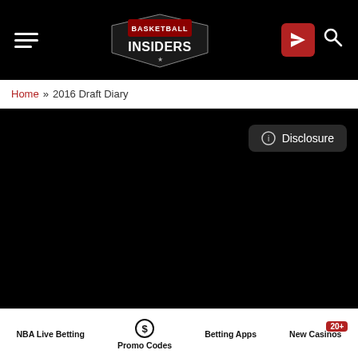Basketball Insiders - Navigation bar with hamburger menu, logo, send button, and search icon
Home » 2016 Draft Diary
[Figure (screenshot): Black content area with Disclosure button in top right corner]
NBA Live Betting | Promo Codes | Betting Apps | New Casinos 20+